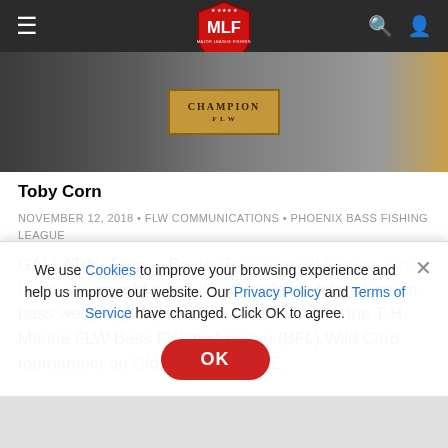MLF - Major League Fishing header navigation
[Figure (photo): Person holding a Champion trophy/plaque, dark background, partially visible]
Toby Corn
NOVEMBER 12, 2018 • FLW COMMUNICATIONS • PHOENIX BASS FISHING LEAGUE
GALLATIN, Tenn. – Boater Toby Corn of Calvert City, Kentucky, caught a two-day cumulative total of seven bass weighing 21 pounds, 2 ounces, to win the T-H Marine FLW Bass Fishing League (BFL) Wild Card tournament on Old Hickory Lake E...
We use Cookies to improve your browsing experience and help us improve our website. Our Privacy Policy and Terms of Service have changed. Click OK to agree.